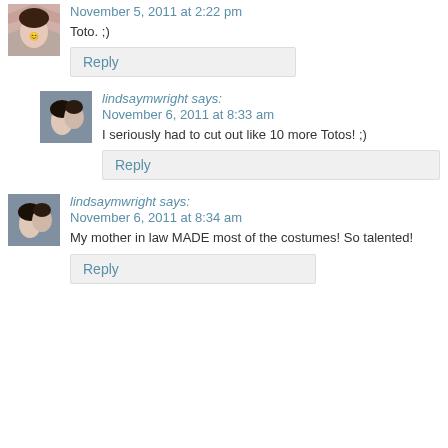[Figure (photo): Avatar photo of a woman in a chevron top]
November 5, 2011 at 2:22 pm
Toto. ;)
Reply
[Figure (photo): Avatar photo of couple, woman and man]
lindsaymwright says:
November 6, 2011 at 8:33 am
I seriously had to cut out like 10 more Totos! ;)
Reply
[Figure (photo): Avatar photo of couple, woman and man]
lindsaymwright says:
November 6, 2011 at 8:34 am
My mother in law MADE most of the costumes! So talented!
Reply